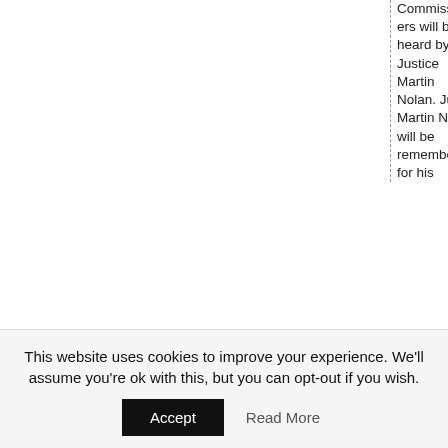Commissioners will be heard by Mr Justice Martin Nolan. Judge Martin Nolan will be remembered for his
This website uses cookies to improve your experience. We'll assume you're ok with this, but you can opt-out if you wish.